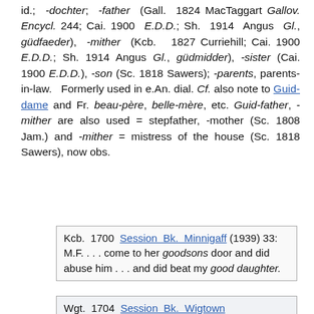id.; -dochter; -father (Gall. 1824 MacTaggart Gallov. Encycl. 244; Cai. 1900 E.D.D.; Sh. 1914 Angus Gl., güdfaeder), -mither (Kcb. 1827 Curriehill; Cai. 1900 E.D.D.; Sh. 1914 Angus Gl., güdmidder), -sister (Cai. 1900 E.D.D.), -son (Sc. 1818 Sawers); -parents, parents-in-law. Formerly used in e.An. dial. Cf. also note to Guid-dame and Fr. beau-père, belle-mère, etc. Guid-father, -mither are also used = stepfather, -mother (Sc. 1808 Jam.) and -mither = mistress of the house (Sc. 1818 Sawers), now obs.
Kcb. 1700 Session Bk. Minnigaff (1939) 33: M.F. . . . come to her goodsons door and did abuse him . . . and did beat my good daughter.
Wgt. 1704 Session Bk. Wigtown